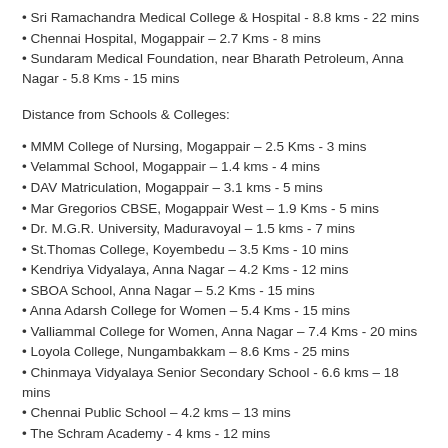• Sri Ramachandra Medical College & Hospital - 8.8 kms - 22 mins
• Chennai Hospital, Mogappair – 2.7 Kms - 8 mins
• Sundaram Medical Foundation, near Bharath Petroleum, Anna Nagar - 5.8 Kms - 15 mins
Distance from Schools & Colleges:
• MMM College of Nursing, Mogappair – 2.5 Kms - 3 mins
• Velammal School, Mogappair – 1.4 kms - 4 mins
• DAV Matriculation, Mogappair – 3.1 kms - 5 mins
• Mar Gregorios CBSE, Mogappair West – 1.9 Kms - 5 mins
• Dr. M.G.R. University, Maduravoyal – 1.5 kms - 7 mins
• St.Thomas College, Koyembedu – 3.5 Kms - 10 mins
• Kendriya Vidyalaya, Anna Nagar – 4.2 Kms - 12 mins
• SBOA School, Anna Nagar – 5.2 Kms - 15 mins
• Anna Adarsh College for Women – 5.4 Kms - 15 mins
• Valliammal College for Women, Anna Nagar – 7.4 Kms - 20 mins
• Loyola College, Nungambakkam – 8.6 Kms - 25 mins
• Chinmaya Vidyalaya Senior Secondary School - 6.6 kms – 18 mins
• Chennai Public School – 4.2 kms – 13 mins
• The Schram Academy - 4 kms - 12 mins